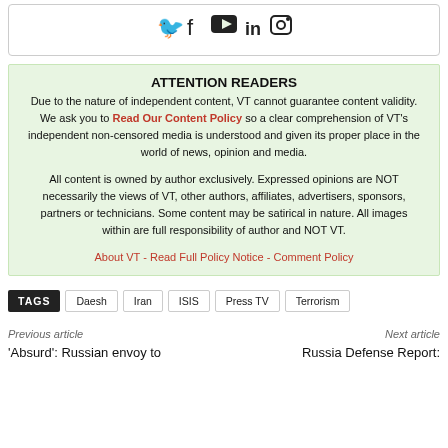[Figure (other): Social media icons (Twitter, Facebook, YouTube, LinkedIn, Instagram) in a bordered box]
ATTENTION READERS
Due to the nature of independent content, VT cannot guarantee content validity.
We ask you to Read Our Content Policy so a clear comprehension of VT's independent non-censored media is understood and given its proper place in the world of news, opinion and media.

All content is owned by author exclusively. Expressed opinions are NOT necessarily the views of VT, other authors, affiliates, advertisers, sponsors, partners or technicians. Some content may be satirical in nature. All images within are full responsibility of author and NOT VT.

About VT - Read Full Policy Notice - Comment Policy
TAGS  Daesh  Iran  ISIS  Press TV  Terrorism
Previous article
Next article
'Absurd': Russian envoy to
Russia Defense Report: